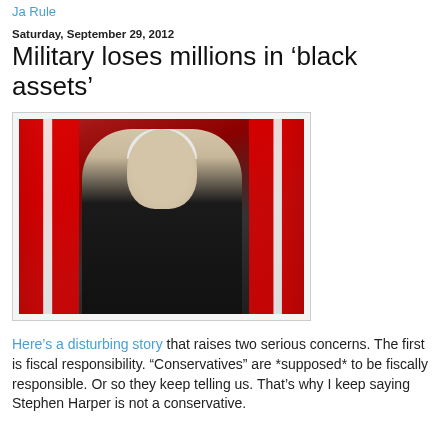Ja Rule
Saturday, September 29, 2012
Military loses millions in 'black assets'
[Figure (photo): Man in dark suit with striped tie speaking, Canadian flags with maple leaf in background]
Here's a disturbing story that raises two serious concerns. The first is fiscal responsibility. "Conservatives" are *supposed* to be fiscally responsible. Or so they keep telling us. That's why I keep saying Stephen Harper is not a conservative.